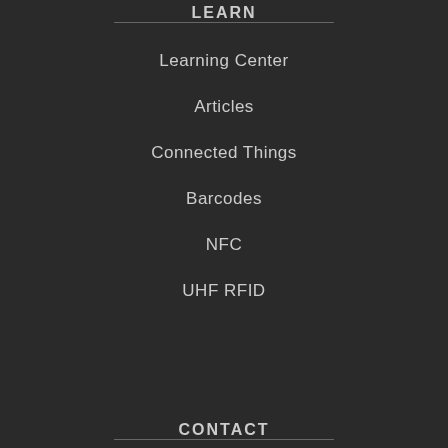LEARN
Learning Center
Articles
Connected Things
Barcodes
NFC
UHF RFID
CONTACT